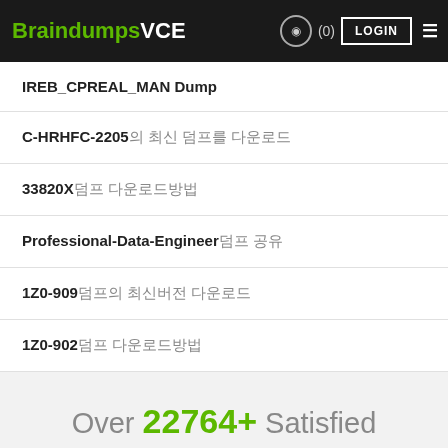BraindumpsVCE (0) LOGIN
IREB_CPREAL_MAN Dump
C-HRHFC-2205의 최신 덤프를 다운로드
33820X덤프 다운로드방법
Professional-Data-Engineer덤프 공유
1Z0-909덤프의 최신버전 다운로드
1Z0-902덤프 다운로드방법
Over 22764+ Satisfied Customers